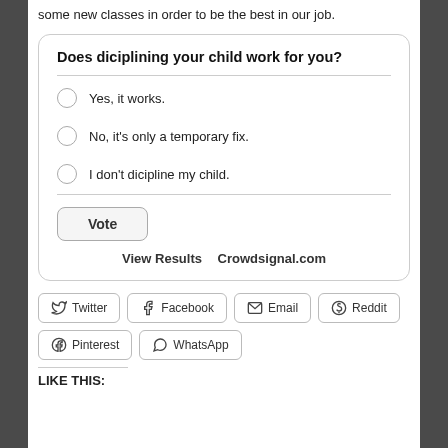some new classes in order to be the best in our job.
[Figure (other): Poll widget: 'Does diciplining your child work for you?' with options 'Yes, it works.', 'No, it's only a temporary fix.', 'I don't dicipline my child.', Vote button, View Results and Crowdsignal.com links.]
Twitter
Facebook
Email
Reddit
Pinterest
WhatsApp
LIKE THIS: